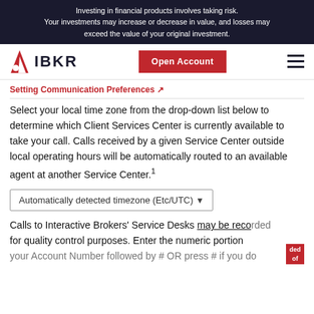Investing in financial products involves taking risk. Your investments may increase or decrease in value, and losses may exceed the value of your original investment.
[Figure (logo): IBKR (Interactive Brokers) logo with red arrow/triangle icon and bold IBKR text, plus Open Account button and hamburger menu]
Setting Communication Preferences ↗
Select your local time zone from the drop-down list below to determine which Client Services Center is currently available to take your call. Calls received by a given Service Center outside local operating hours will be automatically routed to an available agent at another Service Center.¹
Automatically detected timezone (Etc/UTC) ▾
Calls to Interactive Brokers' Service Desks may be recorded for quality control purposes. Enter the numeric portion of your Account Number followed by # OR press # if you do